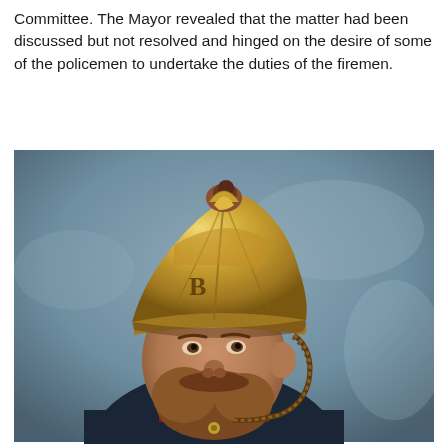Committee. The Mayor revealed that the matter had been discussed but not resolved and hinged on the desire of some of the policemen to undertake the duties of the firemen.
[Figure (photo): Portrait photograph of a bearded man wearing a Victorian-era brass firefighter's helmet with ornate decorations and a chin strap, dressed in a dark uniform with red collar detail. The background is a muted blue-grey.]